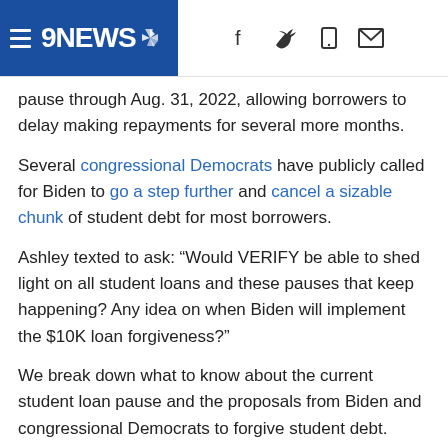9NEWS (hamburger menu, facebook, twitter, mobile, mail icons)
pause through Aug. 31, 2022, allowing borrowers to delay making repayments for several more months.
Several congressional Democrats have publicly called for Biden to go a step further and cancel a sizable chunk of student debt for most borrowers.
Ashley texted to ask: “Would VERIFY be able to shed light on all student loans and these pauses that keep happening? Any idea on when Biden will implement the $10K loan forgiveness?”
We break down what to know about the current student loan pause and the proposals from Biden and congressional Democrats to forgive student debt.
THE SOURCES